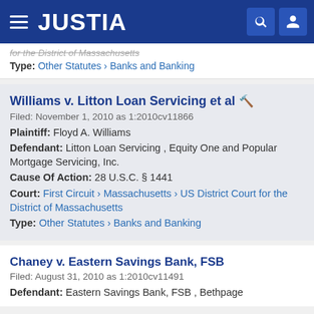JUSTIA
for the District of Massachusetts
Type: Other Statutes › Banks and Banking
Williams v. Litton Loan Servicing et al
Filed: November 1, 2010 as 1:2010cv11866
Plaintiff: Floyd A. Williams
Defendant: Litton Loan Servicing , Equity One and Popular Mortgage Servicing, Inc.
Cause Of Action: 28 U.S.C. § 1441
Court: First Circuit › Massachusetts › US District Court for the District of Massachusetts
Type: Other Statutes › Banks and Banking
Chaney v. Eastern Savings Bank, FSB
Filed: August 31, 2010 as 1:2010cv11491
Defendant: Eastern Savings Bank, FSB , Bethpage